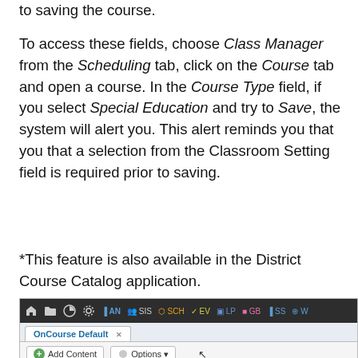to saving the course.
To access these fields, choose Class Manager from the Scheduling tab, click on the Course tab and open a course. In the Course Type field, if you select Special Education and try to Save, the system will alert you. This alert reminds you that you that a selection from the Classroom Setting field is required prior to saving.
*This feature is also available in the District Course Catalog application.
[Figure (screenshot): Screenshot of an OnCourse application interface showing a dark navigation bar at the top with icons (home, folder, chart, gear, AN, SIS, SCH, EV, LP, GB, SS, W...), a tab labeled 'OnCourse Default' with an X, a toolbar with 'Add Content' and 'Options' buttons, and two panels below: 'Announcements' (with up, refresh, close buttons) and 'My Programs'. The bottom shows 'You have no current announcements...' and 'HOME Your personal dashboard; add widge...']